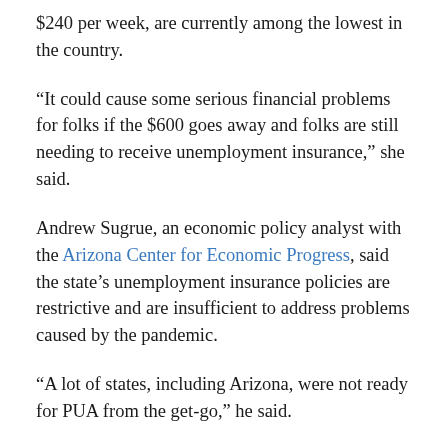$240 per week, are currently among the lowest in the country.
“It could cause some serious financial problems for folks if the $600 goes away and folks are still needing to receive unemployment insurance,” she said.
Andrew Sugrue, an economic policy analyst with the Arizona Center for Economic Progress, said the state’s unemployment insurance policies are restrictive and are insufficient to address problems caused by the pandemic.
“A lot of states, including Arizona, were not ready for PUA from the get-go,” he said.
Sugrue said the amount of unemployment benefits